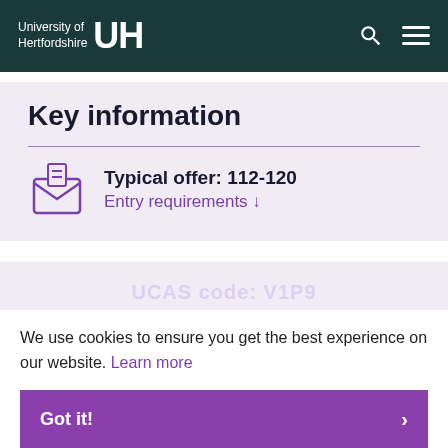University of Hertfordshire UH
Key information
Typical offer: 112-120
Entry requirements ↓
UCAS code: V1P9
We use cookies to ensure you get the best experience on our website. Learn more
Got it! >